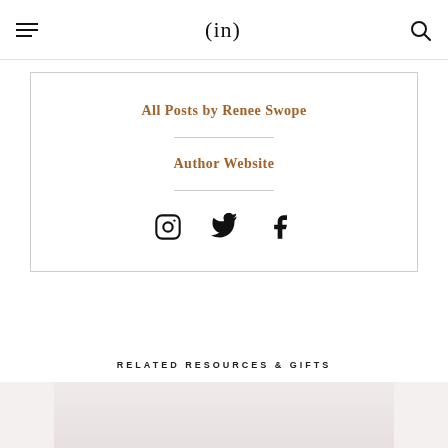(in)
All Posts by Renee Swope
Author Website
[Figure (illustration): Social media icons: Instagram, Twitter, Facebook]
RELATED RESOURCES & GIFTS
[Figure (photo): Partial view of a book or product image with light pink/white background]